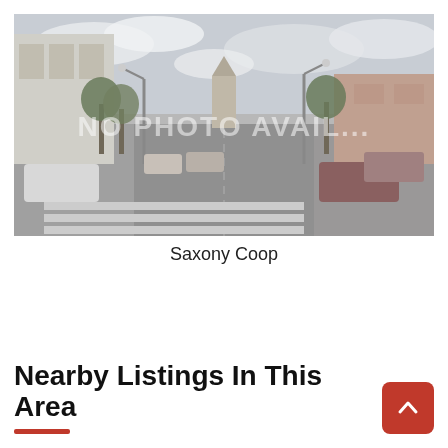[Figure (photo): Street view photo of an urban intersection with buildings, trees, parked cars, crosswalk, and a church steeple visible in the background. Overlaid text reads 'NO PHOTO AVAILABLE' in large semitransparent white letters.]
Saxony Coop
Nearby Listings In This Area